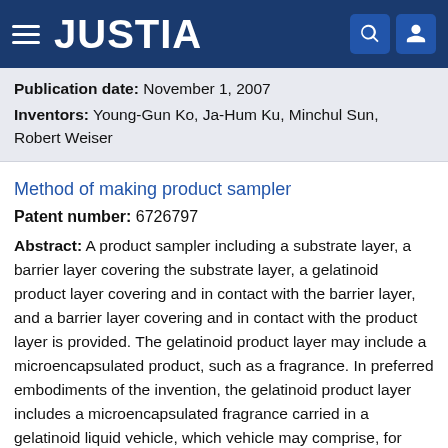JUSTIA
Publication date: November 1, 2007
Inventors: Young-Gun Ko, Ja-Hum Ku, Minchul Sun, Robert Weiser
Method of making product sampler
Patent number: 6726797
Abstract: A product sampler including a substrate layer, a barrier layer covering the substrate layer, a gelatinoid product layer covering and in contact with the barrier layer, and a barrier layer covering and in contact with the product layer is provided. The gelatinoid product layer may include a microencapsulated product, such as a fragrance. In preferred embodiments of the invention, the gelatinoid product layer includes a microencapsulated fragrance carried in a gelatinoid liquid vehicle, which vehicle may comprise, for example, propylene glycol, polyethylene glycols, glycerin, or